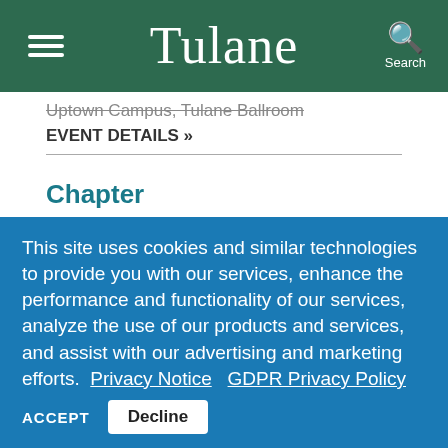Tulane
Uptown Campus, Tulane Ballroom
EVENT DETAILS »
Chapter
6:00 pm to 7:00 pm
Uptown Campus, Pi Beta Phi House
This site uses cookies and similar technologies to provide you with our services, enhance the performance and functionality of our services, analyze the use of our products and services, and assist with our advertising and marketing efforts.  Privacy Notice   GDPR Privacy Policy
ACCEPT   Decline